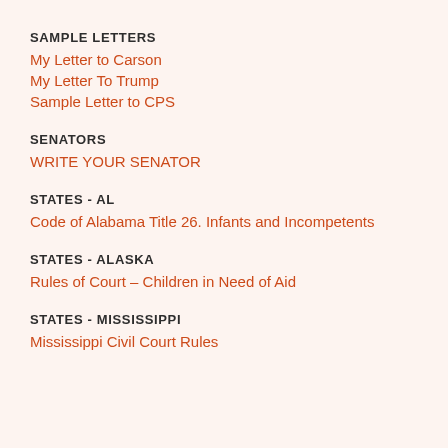SAMPLE LETTERS
My Letter to Carson
My Letter To Trump
Sample Letter to CPS
SENATORS
WRITE YOUR SENATOR
STATES - AL
Code of Alabama Title 26. Infants and Incompetents
STATES - ALASKA
Rules of Court – Children in Need of Aid
STATES - MISSISSIPPI
Mississippi Civil Court Rules